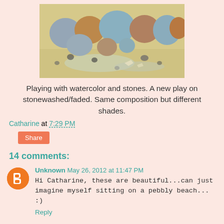[Figure (illustration): Watercolor painting of rounded stones/rocks in blue, grey, and brown tones on a sandy/earthy surface with small pebbles scattered around]
Playing with watercolor and stones. A new play on stonewashed/faded. Same composition but different shades.
Catharine at 7:29 PM
Share
14 comments:
Unknown May 26, 2012 at 11:47 PM
Hi Catharine, these are beautiful...can just imagine myself sitting on a pebbly beach... :)
Reply